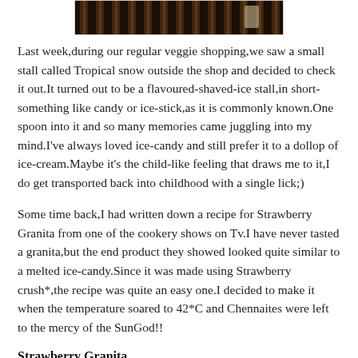[Figure (photo): A dark striped photo at the top of the page, appears to show a market or stall scene with dark brown/black tones and a bright highlight on the right side.]
Last week,during our regular veggie shopping,we saw a small stall called Tropical snow outside the shop and decided to check it out.It turned out to be a flavoured-shaved-ice stall,in short-something like candy or ice-stick,as it is commonly known.One spoon into it and so many memories came juggling into my mind.I've always loved ice-candy and still prefer it to a dollop of ice-cream.Maybe it's the child-like feeling that draws me to it,I do get transported back into childhood with a single lick;)
Some time back,I had written down a recipe for Strawberry Granita from one of the cookery shows on Tv.I have never tasted a granita,but the end product they showed looked quite similar to a melted ice-candy.Since it was made using Strawberry crush*,the recipe was quite an easy one.I decided to make it when the temperature soared to 42*C and Chennaites were left to the mercy of the SunGod!!
Strawberry Granita
Ingredients